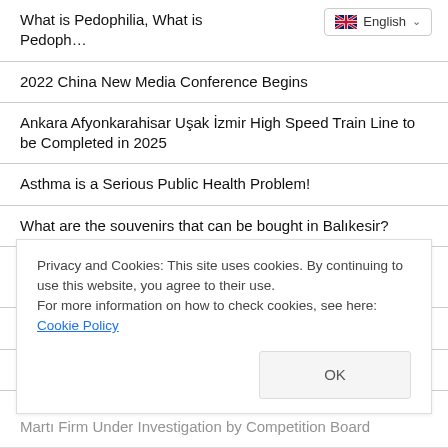What is Pedophilia, What is Pedoph…
2022 China New Media Conference Begins
Ankara Afyonkarahisar Uşak İzmir High Speed Train Line to be Completed in 2025
Asthma is a Serious Public Health Problem!
What are the souvenirs that can be bought in Balıkesir?
What is a Genetic Engineer, What Does He Do, How to Become? Genetic Engineer Salaries 2022
Peugeot 3008 Features and Review
Are IETT Buses, Metro and Metrobus Free on August 30
Privacy and Cookies: This site uses cookies. By continuing to use this website, you agree to their use. For more information on how to check cookies, see here: Cookie Policy
Martı Firm Under Investigation by Competition Board